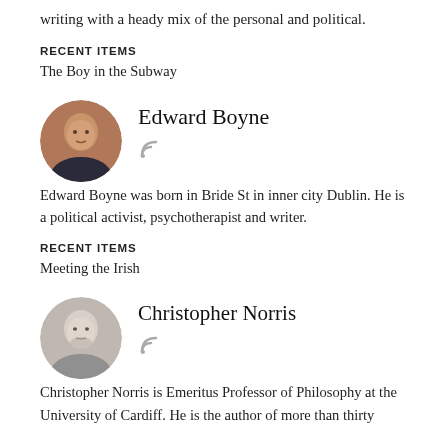writing with a heady mix of the personal and political.
RECENT ITEMS
The Boy in the Subway
[Figure (photo): Circular portrait photo of Edward Boyne]
Edward Boyne
Edward Boyne was born in Bride St in inner city Dublin. He is a political activist, psychotherapist and writer.
RECENT ITEMS
Meeting the Irish
[Figure (photo): Circular portrait photo of Christopher Norris]
Christopher Norris
Christopher Norris is Emeritus Professor of Philosophy at the University of Cardiff. He is the author of more than thirty